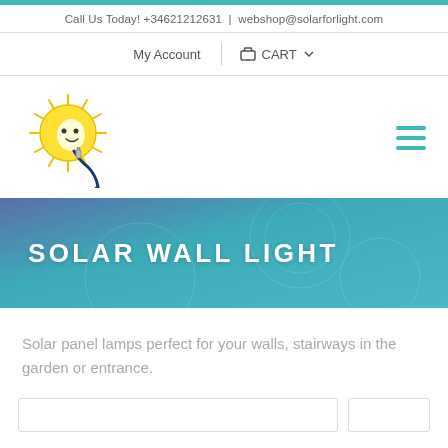Call Us Today! +34621212631 | webshop@solarforlight.com
My Account | CART
[Figure (logo): Solar for light logo: cartoon sun with lightbulb face and electric plug]
SOLAR WALL LIGHT
Solar panel lamps perfect for your walls, stairways in the garden or entrance.